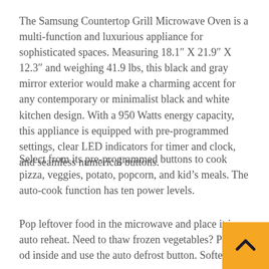The Samsung Countertop Grill Microwave Oven is a multi-function and luxurious appliance for sophisticated spaces. Measuring 18.1" X 21.9" X 12.3" and weighing 41.9 lbs, this black and gray mirror exterior would make a charming accent for any contemporary or minimalist black and white kitchen design. With a 950 Watts energy capacity, this appliance is equipped with pre-programmed settings, clear LED indicators for timer and clock, and seamless numerical buttons.
Select from its pre-programmed buttons to cook pizza, veggies, potato, popcorn, and kid's meals. The auto-cook function has ten power levels.
Pop leftover food in the microwave and place it in auto reheat. Need to thaw frozen vegetables? Place the food inside and use the auto defrost button. Soften/Melt
[Figure (other): Orange back-to-top button with upward chevron arrow in bottom-right corner]